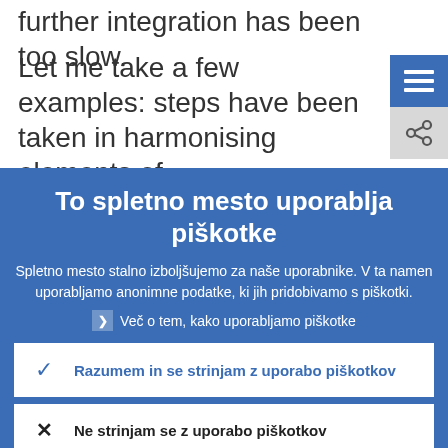further integration has been too slow.
Let me take a few examples: steps have been taken in harmonising elements of
To spletno mesto uporablja piškotke
Spletno mesto stalno izboljšujemo za naše uporabnike. V ta namen uporabljamo anonimne podatke, ki jih pridobivamo s piškotki.
Več o tem, kako uporabljamo piškotke
Razumem in se strinjam z uporabo piškotkov
Ne strinjam se z uporabo piškotkov